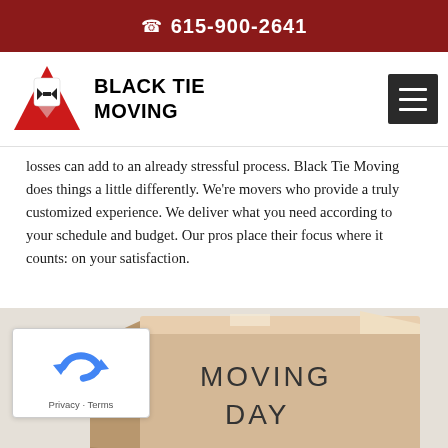615-900-2641
[Figure (logo): Black Tie Moving logo with red triangle and bow tie graphic, company name 'Black Tie Moving' in bold]
losses can add to an already stressful process. Black Tie Moving does things a little differently. We're movers who provide a truly customized experience. We deliver what you need according to your schedule and budget. Our pros place their focus where it counts: on your satisfaction.
[Figure (photo): A cardboard moving box labeled 'MOVING DAY' on a light background]